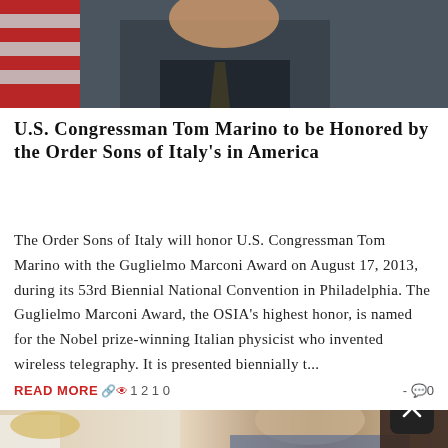[Figure (photo): Photo of U.S. Congressman Tom Marino in suit with American flag in background]
U.S. Congressman Tom Marino to be Honored by the Order Sons of Italy's in America
The Order Sons of Italy will honor U.S. Congressman Tom Marino with the Guglielmo Marconi Award on August 17, 2013, during its 53rd Biennial National Convention in Philadelphia. The Guglielmo Marconi Award, the OSIA's highest honor, is named for the Nobel prize-winning Italian physicist who invented wireless telegraphy. It is presented biennially t...
READ MORE  1210  -  0
[Figure (photo): Photo of people at an event, man in white shirt with gloves and elderly man seated]